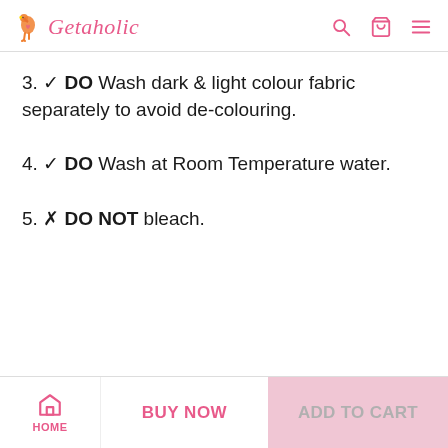Getaholic
3. ✓ DO Wash dark & light colour fabric separately to avoid de-colouring.
4. ✓ DO Wash at Room Temperature water.
5. ✗ DO NOT bleach.
HOME | BUY NOW | ADD TO CART